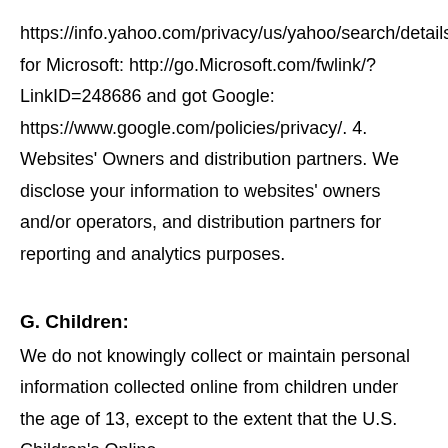https://info.yahoo.com/privacy/us/yahoo/search/details.html, for Microsoft: http://go.Microsoft.com/fwlink/?LinkID=248686 and got Google: https://www.google.com/policies/privacy/. 4. Websites' Owners and distribution partners. We disclose your information to websites' owners and/or operators, and distribution partners for reporting and analytics purposes.
G. Children:
We do not knowingly collect or maintain personal information collected online from children under the age of 13, except to the extent that the U.S. Children's Online